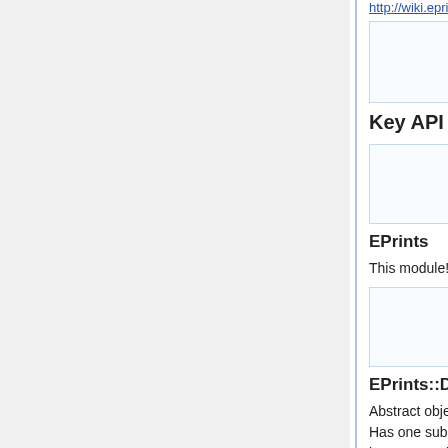http://wiki.eprints.org/w/2_documentation#2...
[Figure (other): Empty content box (navigation/link area)]
Key API EPrints Modules
[Figure (other): Empty content box (navigation/link area)]
EPrints
This module! Used to load the other modules.
[Figure (other): Empty content box (navigation/link area)]
EPrints::DataObj
Abstract object representing a single record in a DataSet. Has one subclass for each type of DataSet. The most important subclasses are listed below. This module documents generic